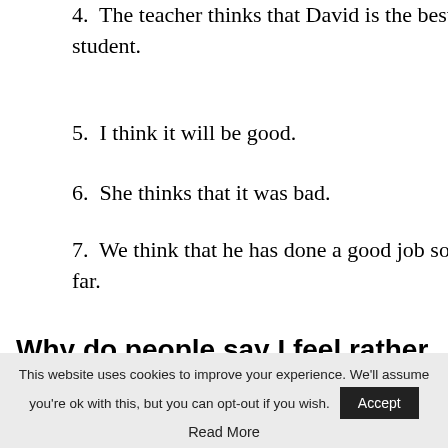4. The teacher thinks that David is the best student.
5. I think it will be good.
6. She thinks that it was bad.
7. We think that he has done a good job so far.
Why do people say I feel rather than I think?
Many of us say “I feel” because “I think”
This website uses cookies to improve your experience. We'll assume you're ok with this, but you can opt-out if you wish. Accept Read More